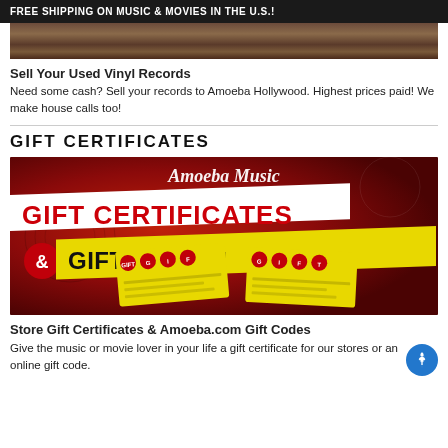FREE SHIPPING ON MUSIC & MOVIES IN THE U.S.!
[Figure (photo): Top portion of vinyl records image, cropped]
Sell Your Used Vinyl Records
Need some cash? Sell your records to Amoeba Hollywood. Highest prices paid! We make house calls too!
GIFT CERTIFICATES
[Figure (photo): Amoeba Music Gift Certificates & Gift Codes promotional image with red background, white banner reading GIFT CERTIFICATES, yellow banner reading & GIFT CODES!, and gift certificates shown at bottom]
Store Gift Certificates & Amoeba.com Gift Codes
Give the music or movie lover in your life a gift certificate for our stores or an online gift code.